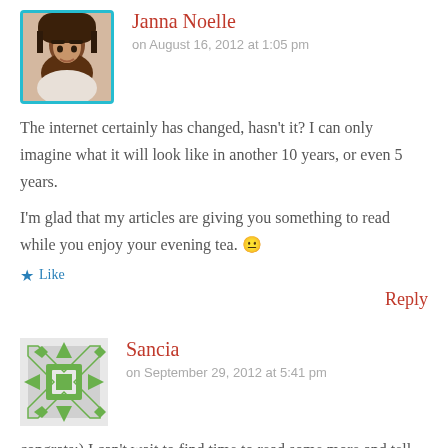[Figure (photo): Profile photo of Janna Noelle with teal border]
Janna Noelle
on August 16, 2012 at 1:05 pm
The internet certainly has changed, hasn't it? I can only imagine what it will look like in another 10 years, or even 5 years.
I'm glad that my articles are giving you something to read while you enjoy your evening tea. 😐
★ Like
Reply
[Figure (illustration): Avatar/gravatar icon for Sancia with green geometric pattern]
Sancia
on September 29, 2012 at 5:41 pm
congrats:) I can't wait to find time to read some more and tell people I know an award winner!